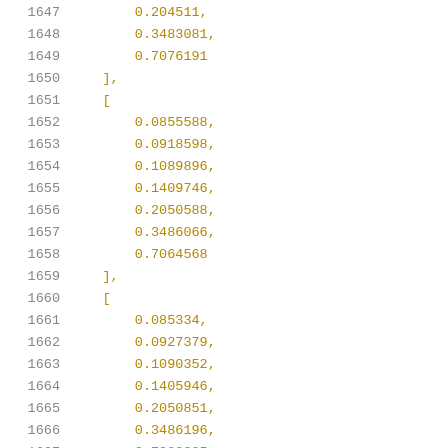Code listing lines 1647-1667 showing numerical array data
1647    0.204511,
1648    0.3483081,
1649    0.7076191
1650  ],
1651  [
1652    0.0855588,
1653    0.0918598,
1654    0.1089896,
1655    0.1409746,
1656    0.2050588,
1657    0.3486066,
1658    0.7064568
1659  ],
1660  [
1661    0.085334,
1662    0.0927379,
1663    0.1090352,
1664    0.1405946,
1665    0.2050851,
1666    0.3486196,
1667    0.7080325